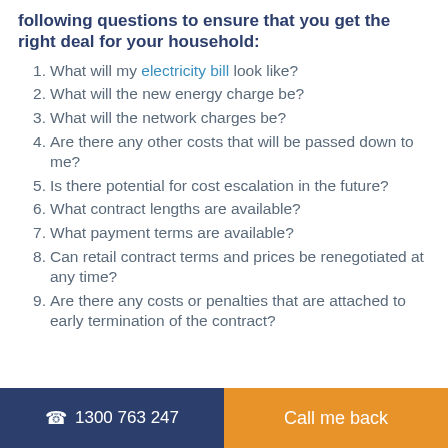following questions to ensure that you get the right deal for your household:
What will my electricity bill look like?
What will the new energy charge be?
What will the network charges be?
Are there any other costs that will be passed down to me?
Is there potential for cost escalation in the future?
What contract lengths are available?
What payment terms are available?
Can retail contract terms and prices be renegotiated at any time?
Are there any costs or penalties that are attached to early termination of the contract?
1300 763 247   Call me back